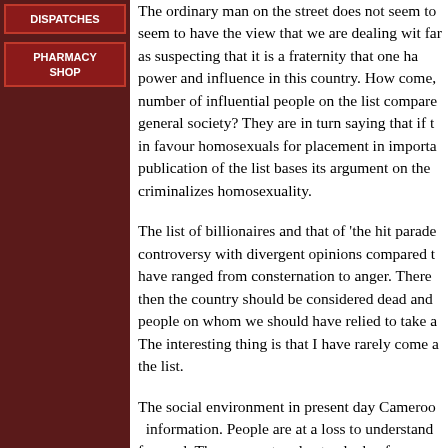DISPATCHES
PHARMACY SHOP
The ordinary man on the street does not seem to seem to have the view that we are dealing with far as suspecting that it is a fraternity that one has power and influence in this country. How come, number of influential people on the list compare general society? They are in turn saying that if the in favour homosexuals for placement in important publication of the list bases its argument on the criminalizes homosexuality.
The list of billionaires and that of 'the hit parade controversy with divergent opinions compared to have ranged from consternation to anger. There then the country should be considered dead and people on whom we should have relied to take a The interesting thing is that I have rarely come across the list.
The social environment in present day Cameroon information. People are at a loss to understand forward. They can not understand why, for example windfall realized from the recent increase in oil while nothing is mentioned in Cameroon about fueling a car is at its highest level in history 560